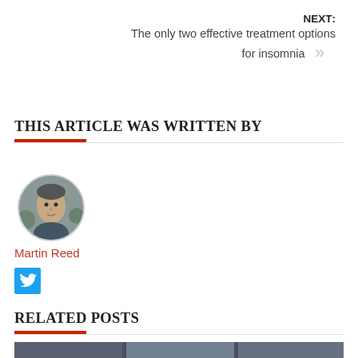NEXT: The only two effective treatment options for insomnia
THIS ARTICLE WAS WRITTEN BY
[Figure (photo): Circular headshot photo of Martin Reed, a middle-aged man outdoors]
Martin Reed
[Figure (logo): Twitter/social media button icon (blue square with bird icon)]
RELATED POSTS
[Figure (photo): Related posts thumbnail image strip at bottom of page]